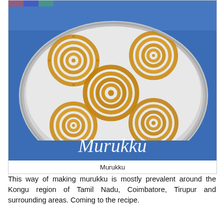[Figure (photo): A silver metal plate/tray holding multiple spiral-shaped murukku (Indian savory snack), arranged on a blue fabric background. The word 'Murukku' is written in white cursive script on the blue fabric.]
Murukku
This way of making murukku is mostly prevalent around the Kongu region of Tamil Nadu, Coimbatore, Tirupur and surrounding areas. Coming to the recipe.